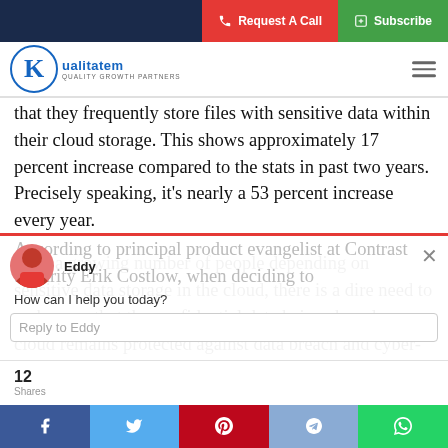Request A Call | Subscribe
[Figure (logo): Kualitatem logo - K in a circle with text 'Kualitatem QUALITY GROWTH PARTNERS']
that they frequently store files with sensitive data within their cloud storage. This shows approximately 17 percent increase compared to the stats in past two years. Precisely speaking, it's nearly a 53 percent increase every year.
With a growing number of people depending on sensitive data storage in the cloud, there is a dire need to make sure that the confidential data being shared on cloud remains protected against data breach and cyber-attacks.
According to principal product evangelist at Contrast Security Erik Costlow, when deciding to
12 Shares | Reply to Eddy